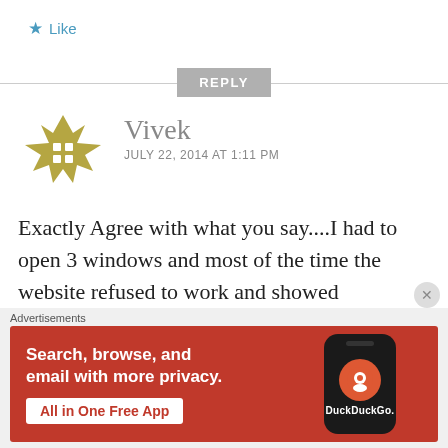★ Like
REPLY
[Figure (illustration): User avatar icon — decorative geometric snowflake pattern in olive/gold color]
Vivek
JULY 22, 2014 AT 1:11 PM
Exactly Agree with what you say....I had to open 3 windows and most of the time the website refused to work and showed error....had problems paying as
[Figure (infographic): DuckDuckGo advertisement banner. Orange/red background. Text: 'Search, browse, and email with more privacy. All in One Free App'. Shows a smartphone with DuckDuckGo logo.]
Advertisements